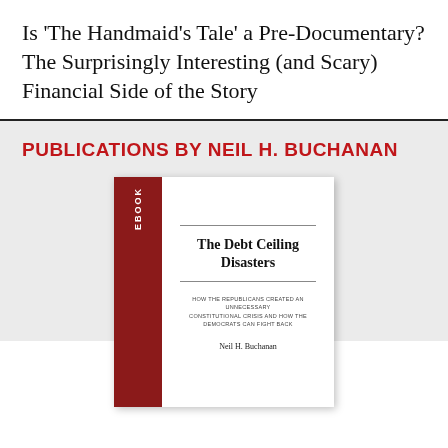Is 'The Handmaid's Tale' a Pre-Documentary? The Surprisingly Interesting (and Scary) Financial Side of the Story
PUBLICATIONS BY NEIL H. BUCHANAN
[Figure (illustration): Book cover for 'The Debt Ceiling Disasters' by Neil H. Buchanan. The cover shows a dark red spine labeled 'eBOOK' and a white front with the title, subtitle 'How the Republicans Created an Unnecessary Constitutional Crisis and How the Democrats Can Fight Back', and author name Neil H. Buchanan.]